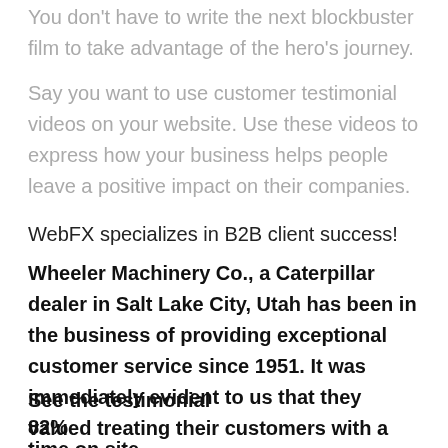You don't have to write the next blockbuster film to take advantage of the hero's journey.
Say you want to use customer testimonial videos on your website. Use these videos to express how your business helps people leave a positive impact on their companies.
WebFX specializes in B2B client success!
Wheeler Machinery Co., a Caterpillar dealer in Salt Lake City, Utah has been in the business of providing exceptional customer service since 1951. It was immediately evident to us that they valued treating their customers with a sense of partnership.
See the testimonial
82%
time on site